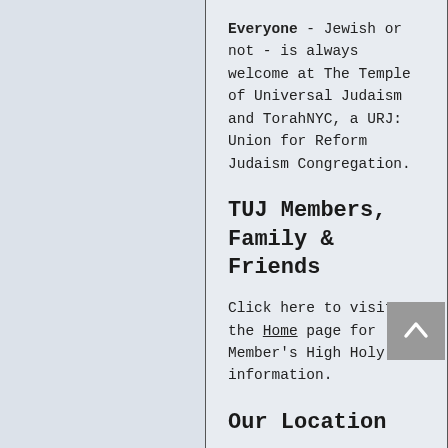Everyone - Jewish or not - is always welcome at The Temple of Universal Judaism and TorahNYC, a URJ: Union for Reform Judaism Congregation.
TUJ Members, Family & Friends
Click here to visit the Home page for Member's High Holy Day information.
Our Location
For nearly 50 years, TUJ has shared space with the Park Avenue Christian Church - a progressive Protestant congregation.  Due to the church's